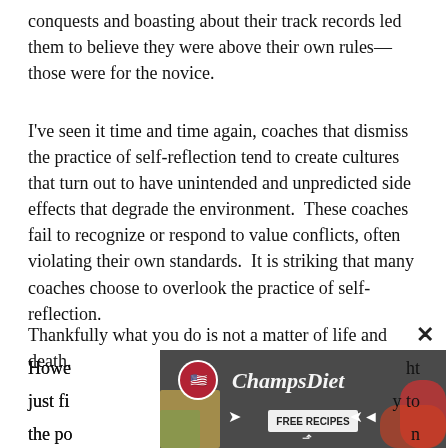conquests and boasting about their track records led them to believe they were above their own rules—those were for the novice.
I've seen it time and time again, coaches that dismiss the practice of self-reflection tend to create cultures that turn out to have unintended and unpredicted side effects that degrade the environment.  These coaches fail to recognize or respond to value conflicts, often violating their own standards.  It is striking that many coaches choose to overlook the practice of self-reflection.
Thankfully what you do is not a matter of life and death. Howe[...] ht just fi[...] y to the po[...] n reality[...]ll
[Figure (screenshot): ChampsDiet advertisement banner with logo, cursive brand name, and FREE RECIPES button with arrows]